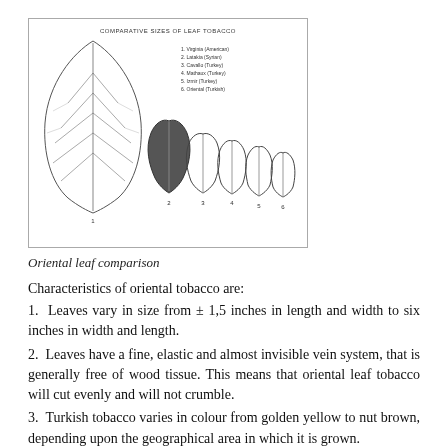[Figure (illustration): Comparative sizes of leaf tobacco illustration showing 6 different tobacco leaf types: 1. Virginia (American), 2. Latakia (Syrian), 3. Cavallo (Turkey), 4. Mathaux (Turkey), 5. Izmir (Turkey), 6. Oriental (Turkish)]
Oriental leaf comparison
Characteristics of oriental tobacco are:
1. Leaves vary in size from ± 1,5 inches in length and width to six inches in width and length.
2. Leaves have a fine, elastic and almost invisible vein system, that is generally free of wood tissue. This means that oriental leaf tobacco will cut evenly and will not crumble.
3. Turkish tobacco varies in colour from golden yellow to nut brown, depending upon the geographical area in which it is grown.
4. There is a very low nicotine content in oriental tobacco. Dr. Frederick Wolf (there he is again) attributes this to the scarcity of rain and available nitrogen in the growing areas. So if you are a